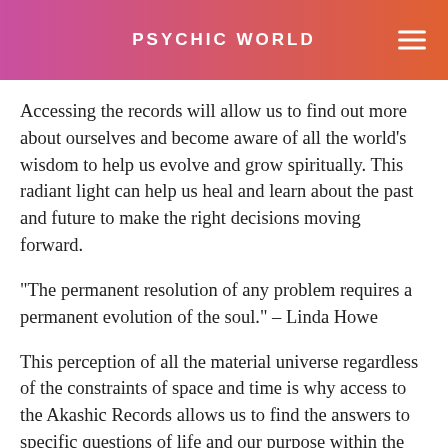PSYCHIC WORLD
Accessing the records will allow us to find out more about ourselves and become aware of all the world's wisdom to help us evolve and grow spiritually. This radiant light can help us heal and learn about the past and future to make the right decisions moving forward.
“The permanent resolution of any problem requires a permanent evolution of the soul.” – Linda Howe
This perception of all the material universe regardless of the constraints of space and time is why access to the Akashic Records allows us to find the answers to specific questions of life and our purpose within the entirety of the cosmos.